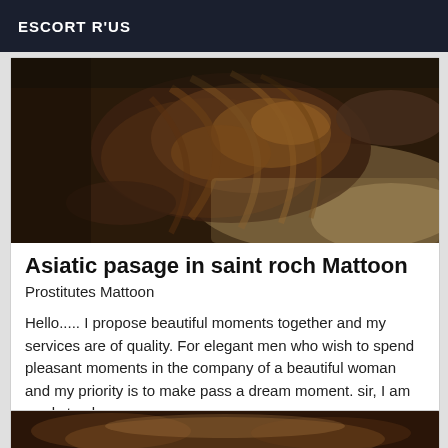ESCORT R'US
[Figure (photo): Photo of a woman with long hair lying on a bed, viewed from behind, warm dark tones]
Asiatic pasage in saint roch Mattoon
Prostitutes Mattoon
Hello..... I propose beautiful moments together and my services are of quality. For elegant men who wish to spend pleasant moments in the company of a beautiful woman and my priority is to make pass a dream moment. sir, I am ready to please you
[Figure (photo): Partial photo of a woman, warm tones, bottom of page]